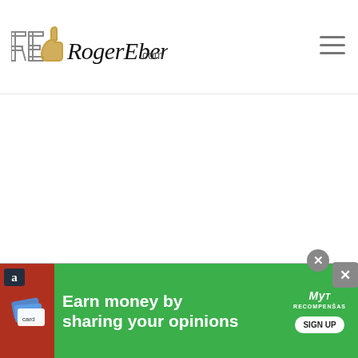RogerEbert.com
[Figure (logo): RogerEbert.com logo with thumbs-up icon and script wordmark]
[Figure (other): Hamburger menu icon (three horizontal lines) on the right side of the header]
[Figure (infographic): Green advertisement banner: 'Earn money by sharing your opinions' with Amazon icon, person image, MyPoints/RecompenSas logo, and SIGN UP button. Close (X) buttons visible.]